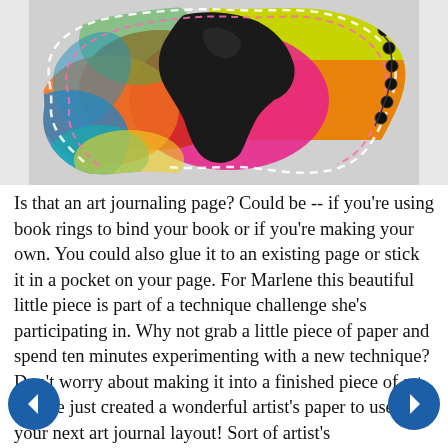[Figure (photo): A colorful mixed-media art piece shaped irregularly, featuring a dark bird silhouette on a vibrant background of yellow, green, pink, orange, red, and blue hues, with stitched dashed white and pink borders and black beaded embellishments on the right edge.]
Is that an art journaling page?  Could be -- if you're using book rings to bind your book or if you're making your own.  You could also glue it to an existing page or stick it in a pocket on your page.  For Marlene this beautiful little piece is part of a technique challenge she's participating in.  Why not grab a little piece of paper and spend ten minutes experimenting with a new technique?  Don't worry about making it into a finished piece of art.  You've just created a wonderful artist's paper to use in your next art journal layout!  Sort of artist's